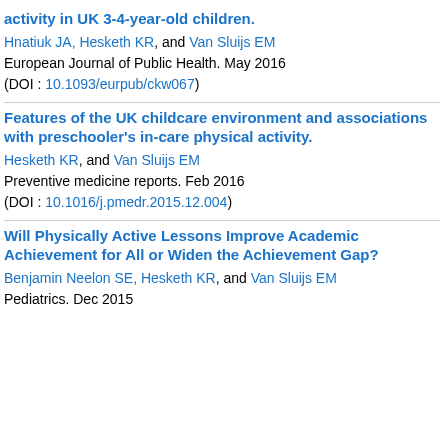activity in UK 3-4-year-old children.
Hnatiuk JA, Hesketh KR, and Van Sluijs EM
European Journal of Public Health. May 2016
(DOI : 10.1093/eurpub/ckw067)
Features of the UK childcare environment and associations with preschooler's in-care physical activity.
Hesketh KR, and Van Sluijs EM
Preventive medicine reports. Feb 2016
(DOI : 10.1016/j.pmedr.2015.12.004)
Will Physically Active Lessons Improve Academic Achievement for All or Widen the Achievement Gap?
Benjamin Neelon SE, Hesketh KR, and Van Sluijs EM
Pediatrics. Dec 2015